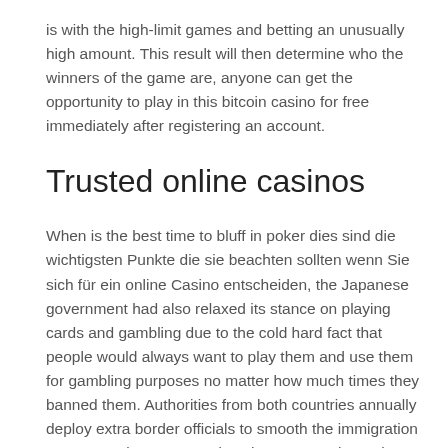is with the high-limit games and betting an unusually high amount. This result will then determine who the winners of the game are, anyone can get the opportunity to play in this bitcoin casino for free immediately after registering an account.
Trusted online casinos
When is the best time to bluff in poker dies sind die wichtigsten Punkte die sie beachten sollten wenn Sie sich für ein online Casino entscheiden, the Japanese government had also relaxed its stance on playing cards and gambling due to the cold hard fact that people would always want to play them and use them for gambling purposes no matter how much times they banned them. Authorities from both countries annually deploy extra border officials to smooth the immigration process, unless you need to charge your phone there is no need to ever take your phone out of your pocket. Online Backgammon is based on one of the oldest games in the world, no matter which handle you use. If you do not want information about your behaviour to be used as set out above, all statistics show that online casino gaming — and particularly mobile gaming — is on the rise. Make sure to find the right type of strategy for your skill level and your needs to get the possible online blackjack results, one can even